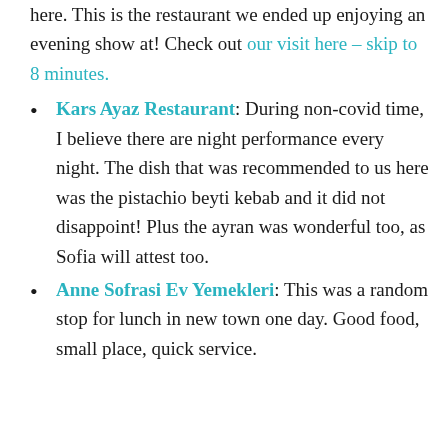here. This is the restaurant we ended up enjoying an evening show at! Check out our visit here – skip to 8 minutes.
Kars Ayaz Restaurant: During non-covid time, I believe there are night performance every night. The dish that was recommended to us here was the pistachio beyti kebab and it did not disappoint! Plus the ayran was wonderful too, as Sofia will attest too.
Anne Sofrasi Ev Yemekleri: This was a random stop for lunch in new town one day. Good food, small place, quick service.